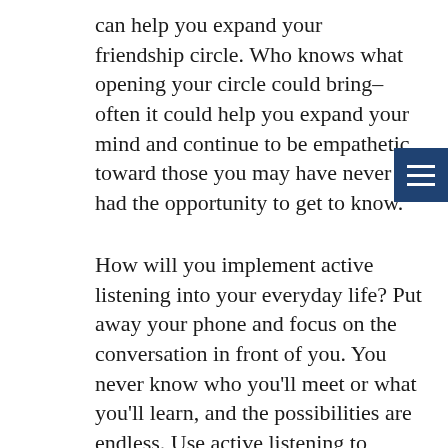can help you expand your friendship circle. Who knows what opening your circle could bring–often it could help you expand your mind and continue to be empathetic toward those you may have never had the opportunity to get to know.
How will you implement active listening into your everyday life? Put away your phone and focus on the conversation in front of you. You never know who you'll meet or what you'll learn, and the possibilities are endless. Use active listening to increase your empathy skills and truly understand those around you.